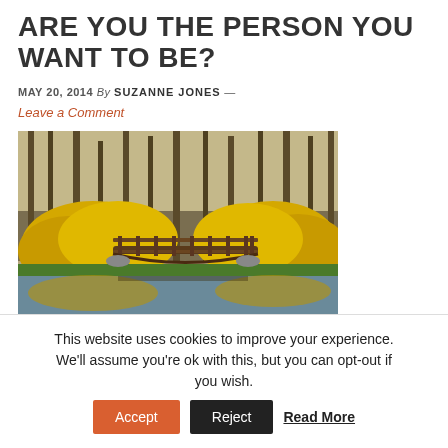ARE YOU THE PERSON YOU WANT TO BE?
MAY 20, 2014 By SUZANNE JONES —
Leave a Comment
[Figure (photo): A wooden arched footbridge over a calm pond, surrounded by yellow forsythia bushes and bare trees in early spring, with reflections visible in the water.]
This website uses cookies to improve your experience. We'll assume you're ok with this, but you can opt-out if you wish. Accept Reject Read More